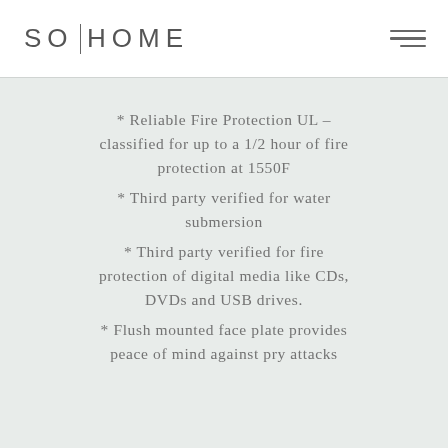SO|HOME
* Reliable Fire Protection UL – classified for up to a 1/2 hour of fire protection at 1550F
* Third party verified for water submersion
* Third party verified for fire protection of digital media like CDs, DVDs and USB drives.
* Flush mounted face plate provides peace of mind against pry attacks